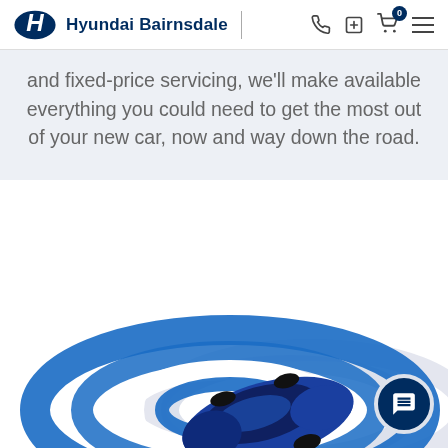Hyundai Bairnsdale
and fixed-price servicing, we'll make available everything you could need to get the most out of your new car, now and way down the road.
[Figure (illustration): Illustration of a blue Hyundai car viewed from above, surrounded by blue and white circular arc graphics suggesting connectivity or sensing. Set against a white background with a Hyundai chat button in the bottom right corner.]